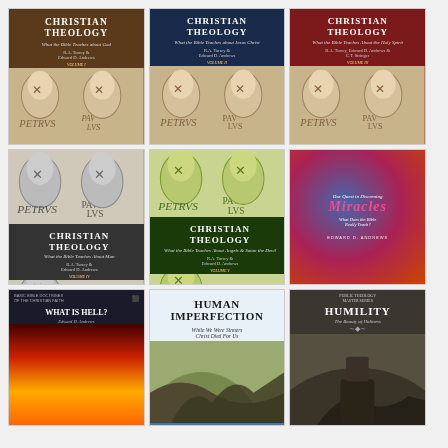[Figure (illustration): Book cover: Christian Theology Vol. I - What the Bible Teaches About God, brown cover with fresco art of apostles, authors R.A. Torrey & Edward D. Andrews]
[Figure (illustration): Book cover: Christian Theology Vol. II - What the Bible Teaches About Jesus Christ, dark navy cover with fresco art of apostles, authors R.A. Torrey & Edward D. Andrews]
[Figure (illustration): Book cover: Christian Theology Vol. III - What the Bible Teaches About the Holy Spirit, dark red cover with fresco art, authors R.A. Torrey, Edward D. Andrews & C.T. Stringer]
[Figure (illustration): Book cover: Christian Theology Vol. IV - What the Bible Teaches About Man, gray cover with fresco art, authors R.A. Torrey & Edward D. Andrews]
[Figure (illustration): Book cover: Christian Theology Vol. V - What the Bible Teaches About Angels & Satan the Devil, green cover with fresco art, authors R.A. Torrey & Edward D. Andrews]
[Figure (illustration): Book cover: Miracles - Our Quest in Discerning: What Does the Bible Really Teach? by Edward D. Andrews, colorful cosmic background with red/purple nebula]
[Figure (illustration): Book cover: What is Hell? by Edward D. Andrews, dark cover with fiery bottom imagery, Basic Bible Doctrines series]
[Figure (illustration): Book cover: Human Imperfection - While We Were Sinners Christ Died For Us, light cover with plant imagery, by Edward D. Andrews]
[Figure (illustration): Book cover: Humility - The Beauty of Holiness, dark earthy cover with stone imagery, Public Theology Master Series by Edward D. Andrews]